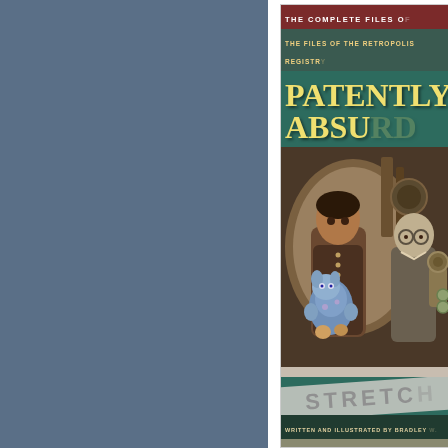[Figure (illustration): Left panel: solid blue-grey background. Right panel: book cover for 'Patently Absurd' showing top red bar with 'THE COMPLETE FILES OF...' text, green subtitle bar with 'THE FILES OF THE RETROPOLIS REGISTRY', large yellow title text 'PATENTLY ABSU[RD]', illustrated cover image with a woman in steampunk gear holding a blue toy creature and an older bald man behind her with machinery in the background, a diagonal 'STRETC[H]' banner in grey across the lower illustration area, author credit 'WRITTEN AND ILLUSTRATED BY BRADLEY [W.]', and bottom bar 'SIX STORIES • FOR[...]']